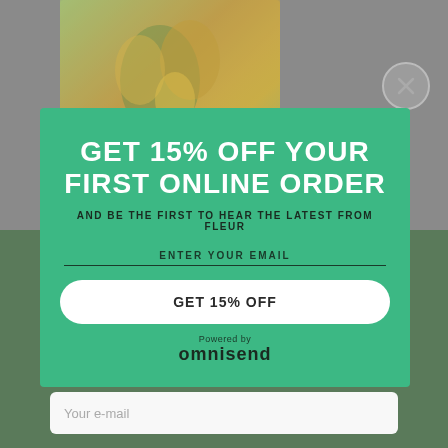[Figure (screenshot): Website popup screenshot showing a florist website with Branches & Blooms branding in the background, overlaid by a teal promotional modal offering 15% off first online order. Background shows flower arrangement image and garden/plant images at bottom.]
GET 15% OFF YOUR FIRST ONLINE ORDER
AND BE THE FIRST TO HEAR THE LATEST FROM FLEUR
ENTER YOUR EMAIL
GET 15% OFF
Powered by omnisend
Be the first to know about special promotions, happenings and more from Fleur!
Your e-mail